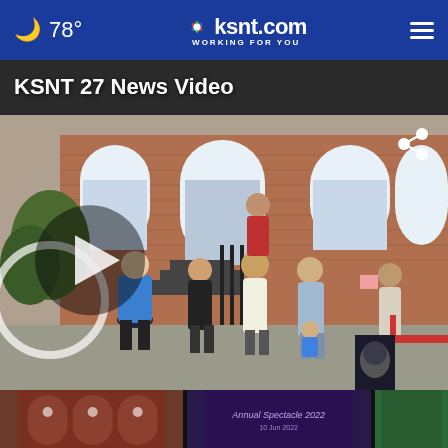🌙 78° | ksnt.com WORKING FOR YOU
KSNT 27 News Video
[Figure (screenshot): Video thumbnail showing a group of people standing outside a brick building with arched windows. A play button overlay is on the left. A share icon is in the top right. The scene appears to be a public outdoor area with people of various ages.]
[Figure (photo): Thumbnail 1: Brick building with arched windows, reddish-brown tones]
[Figure (photo): Thumbnail 2: Dark purple/blue background with text 'Annual Spectacle 2022']
[Figure (photo): Thumbnail 3: Green-toned partial image]